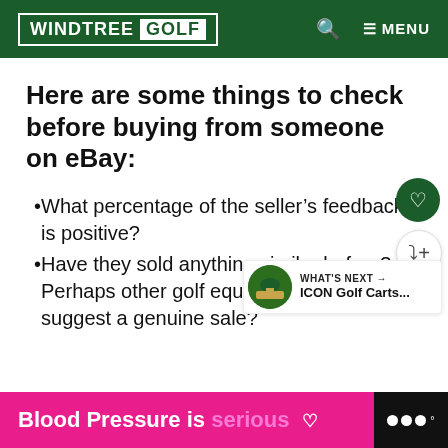WINDTREE GOLF
Here are some things to check before buying from someone on eBay:
What percentage of the seller's feedback is positive?
Have they sold anything similar before? Perhaps other golf equipment that would suggest a genuine sale?